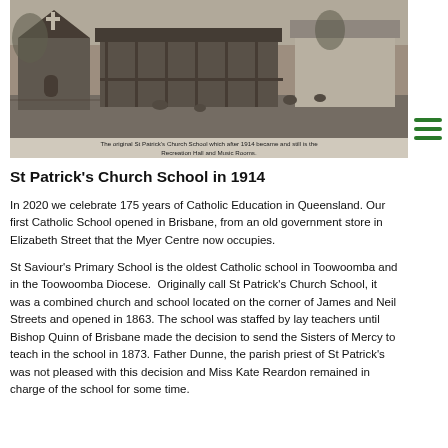[Figure (photo): Black and white historic photograph of the original St Patrick's Church School grounds showing wooden buildings, a small chapel with a cross, a verandah building, and children playing on the grounds.]
The original St Patrick's Church School which after 1914 became and still is the Recreation Hall and Music Rooms.
St Patrick's Church School in 1914
In 2020 we celebrate 175 years of Catholic Education in Queensland. Our first Catholic School opened in Brisbane, from an old government store in Elizabeth Street that the Myer Centre now occupies.
St Saviour's Primary School is the oldest Catholic school in Toowoomba and in the Toowoomba Diocese.  Originally call St Patrick's Church School, it was a combined church and school located on the corner of James and Neil Streets and opened in 1863. The school was staffed by lay teachers until Bishop Quinn of Brisbane made the decision to send the Sisters of Mercy to teach in the school in 1873. Father Dunne, the parish priest of St Patrick's was not pleased with this decision and Miss Kate Reardon remained in charge of the school for some time.